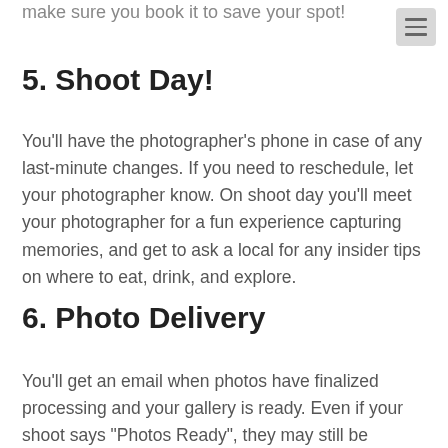make sure you book it to save your spot!
5. Shoot Day!
You'll have the photographer's phone in case of any last-minute changes. If you need to reschedule, let your photographer know. On shoot day you'll meet your photographer for a fun experience capturing memories, and get to ask a local for any insider tips on where to eat, drink, and explore.
6. Photo Delivery
You'll get an email when photos have finalized processing and your gallery is ready. Even if your shoot says "Photos Ready", they may still be